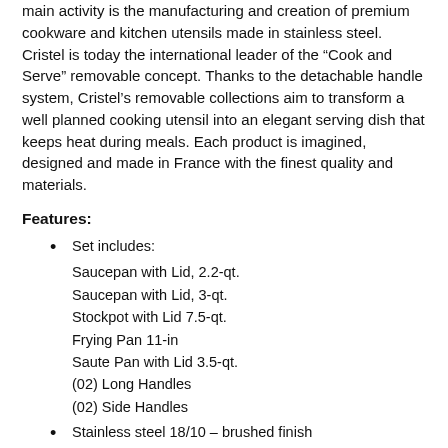main activity is the manufacturing and creation of premium cookware and kitchen utensils made in stainless steel. Cristel is today the international leader of the “Cook and Serve” removable concept. Thanks to the detachable handle system, Cristel’s removable collections aim to transform a well planned cooking utensil into an elegant serving dish that keeps heat during meals. Each product is imagined, designed and made in France with the finest quality and materials.
Features:
Set includes:
Saucepan with Lid, 2.2-qt.
Saucepan with Lid, 3-qt.
Stockpot with Lid 7.5-qt.
Frying Pan 11-in
Saute Pan with Lid 3.5-qt.
(02) Long Handles
(02) Side Handles
Stainless steel 18/10 – brushed finish
Stainless steel 18/10